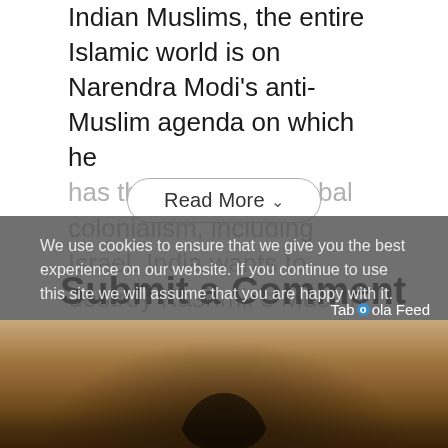Indian Muslims, the entire Islamic world is on Narendra Modi's anti-Muslim agenda on which he has the support of global colonialism, including Israel. India wants to destroy Kashmir's Muslim
Read More ∨
Submit a Comment
We use cookies to ensure that we give you the best experience on our website. If you continue to use this site we will assume that you are happy with it.
Taboola Feed
[Figure (photo): A dark brownish-tan image showing a partial silhouette figure against a sandy/stone background, appearing to be part of a Taboola feed recommended article thumbnail.]